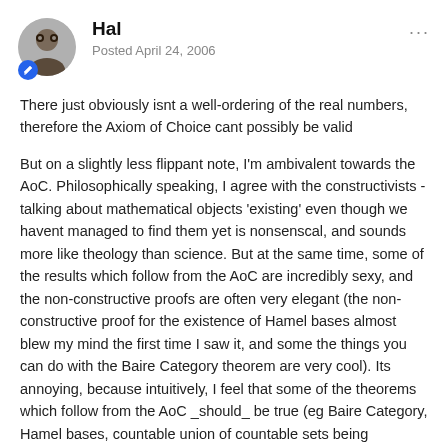Hal — Posted April 24, 2006
There just obviously isnt a well-ordering of the real numbers, therefore the Axiom of Choice cant possibly be valid
But on a slightly less flippant note, I'm ambivalent towards the AoC. Philosophically speaking, I agree with the constructivists - talking about mathematical objects 'existing' even though we havent managed to find them yet is nonsenscal, and sounds more like theology than science. But at the same time, some of the results which follow from the AoC are incredibly sexy, and the non-constructive proofs are often very elegant (the non-constructive proof for the existence of Hamel bases almost blew my mind the first time I saw it, and some the things you can do with the Baire Category theorem are very cool). Its annoying, because intuitively, I feel that some of the theorems which follow from the AoC _should_ be true (eg Baire Category, Hamel bases, countable union of countable sets being countable), but I also feel that some should be false (well-ordering/Vitali theorems are 2 that come to mind). Its really a case of deciding whether being able to prove some very nice theorems justifies bringing in a set